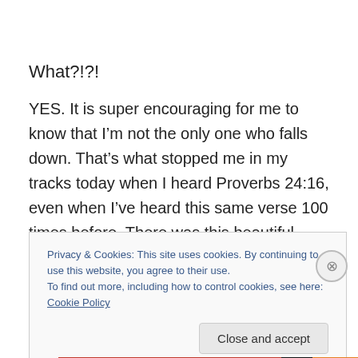What?!?!
YES. It is super encouraging for me to know that I’m not the only one who falls down. That’s what stopped me in my tracks today when I heard Proverbs 24:16, even when I’ve heard this same verse 100 times before. There was this beautiful realization that godly people, righteous people, lovers of Jesus....FALL DOWN. There doesn’t
Privacy & Cookies: This site uses cookies. By continuing to use this website, you agree to their use.
To find out more, including how to control cookies, see here: Cookie Policy
Close and accept